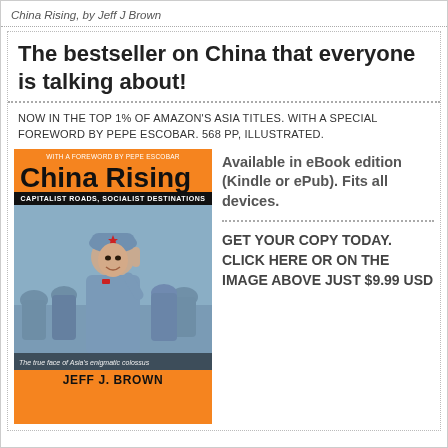China Rising, by Jeff J Brown
The bestseller on China that everyone is talking about!
NOW IN THE TOP 1% OF AMAZON'S ASIA TITLES. WITH A SPECIAL FOREWORD BY PEPE ESCOBAR. 568 PP, ILLUSTRATED.
[Figure (photo): Book cover of 'China Rising: Capitalist Roads, Socialist Destinations' by Jeff J. Brown, featuring a female soldier in grey uniform saluting, with orange top and bottom bars and black title text.]
Available in eBook edition (Kindle or ePub). Fits all devices.
GET YOUR COPY TODAY. CLICK HERE OR ON THE IMAGE ABOVE JUST $9.99 USD